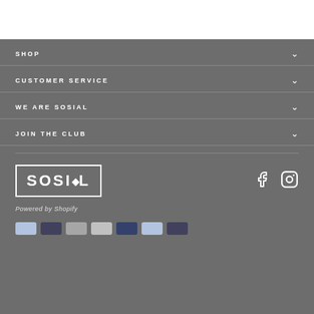SHOP
CUSTOMER SERVICE
WE ARE SOSIAL
JOIN THE CLUB
[Figure (logo): SOSIAL brand logo in white with border rectangle]
Powered by Shopify